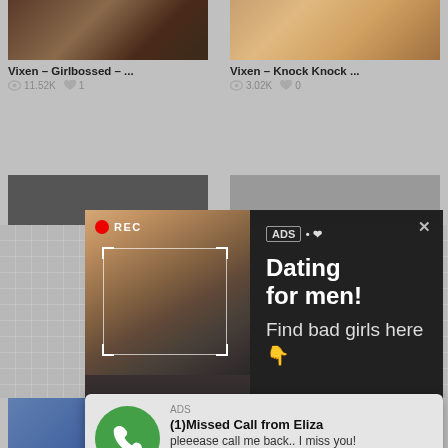[Figure (screenshot): Video thumbnail grid showing adult content website with two video items: 'Vixen – Girlbossed – ...' (11.52K views, 1 like) and 'Vixen – Knock Knock ...' (3.02K views, 0 likes)]
Vixen – Girlbossed – ...
11.52K  1
Vixen – Knock Knock ...
3.02K  0
[Figure (screenshot): Dark popup advertisement overlay showing a selfie photo with REC indicator, camera focus box. Right side shows ad text: 'ADS • ❤ Dating for men! Find bad girls here 👇']
ADS • ❤ Dating for men! Find bad girls here 👇
[Figure (screenshot): Notification-style audio ad showing green phone icon, text '(1)Missed Call from Eliza - pleeease call me back.. I miss you!' with audio progress bar at 0:00 / 3:23 and playback controls]
ADS
(1)Missed Call from Eliza
pleeease call me back.. I miss you!
0:00
3:23